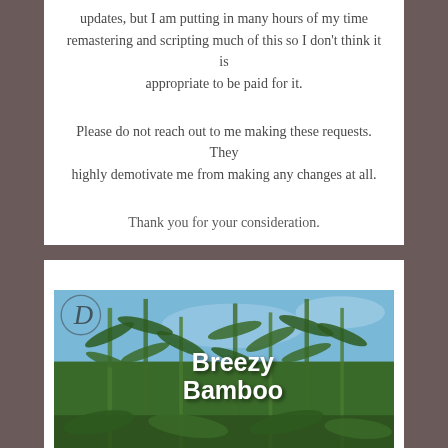updates, but I am putting in many hours of my time remastering and scripting much of this so I don't think it is appropriate to be paid for it.
Please do not reach out to me making these requests. They highly demotivate me from making any changes at all.
Thank you for your consideration.
[Figure (photo): A photo of bamboo plants with green leaves against a blue sky. Bold white text overlay reads 'Breezy Bamboo'. A decorative logo/watermark is visible in the upper left of the image.]